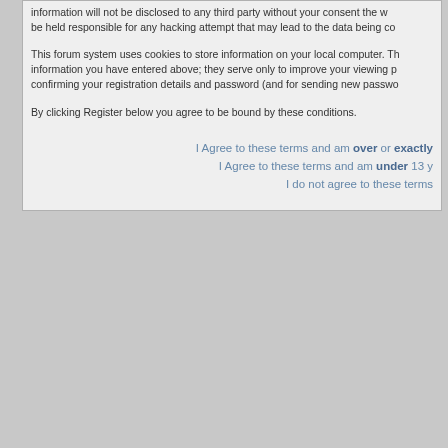information will not be disclosed to any third party without your consent the we be held responsible for any hacking attempt that may lead to the data being co
This forum system uses cookies to store information on your local computer. Th information you have entered above; they serve only to improve your viewing p confirming your registration details and password (and for sending new passwo
By clicking Register below you agree to be bound by these conditions.
I Agree to these terms and am over or exactly
I Agree to these terms and am under 13 y
I do not agree to these terms
[Figure (logo): PayPal Donate button - orange/yellow gradient button with PayPal branding]
SMS - Superb! Mini Server Project © 201 Powered by phpBB © 2001, 2002 phpBB G iCGstation v1.0 Template By Ray © 2003, 2004